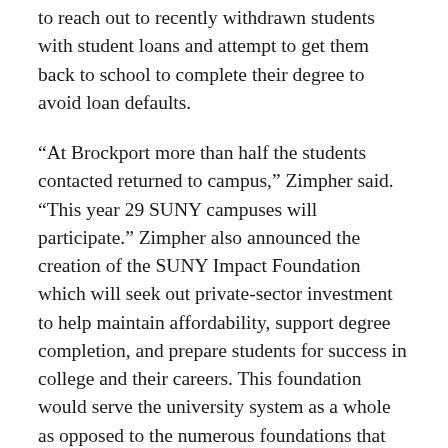to reach out to recently withdrawn students with student loans and attempt to get them back to school to complete their degree to avoid loan defaults.
“At Brockport more than half the students contacted returned to campus,” Zimpher said. “This year 29 SUNY campuses will participate.” Zimpher also announced the creation of the SUNY Impact Foundation which will seek out private-sector investment to help maintain affordability, support degree completion, and prepare students for success in college and their careers. This foundation would serve the university system as a whole as opposed to the numerous foundations that currently serve individual campuses.
“We’ve filed the papers, we’ve hired the experts